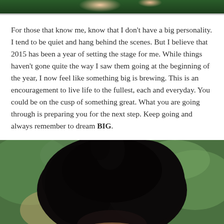[Figure (photo): Partial view of a person in a floral outfit against a green background, cropped at top of page]
For those that know me, know that I don't have a big personality. I tend to be quiet and hang behind the scenes. But I believe that 2015 has been a year of setting the stage for me. While things haven't gone quite the way I saw them going at the beginning of the year, I now feel like something big is brewing. This is an encouragement to live life to the fullest, each and everyday. You could be on the cusp of something great. What you are going through is preparing you for the next step. Keep going and always remember to dream BIG.
[Figure (photo): Close-up portrait photo of a person with a large natural afro hairstyle, face slightly bowed, colorful earring visible, green bokeh background]